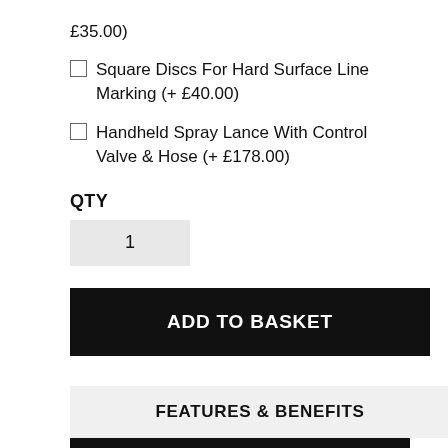£35.00)
Square Discs For Hard Surface Line Marking (+ £40.00)
Handheld Spray Lance With Control Valve & Hose (+ £178.00)
QTY
1
ADD TO BASKET
FEATURES & BENEFITS
DESCRIPTION